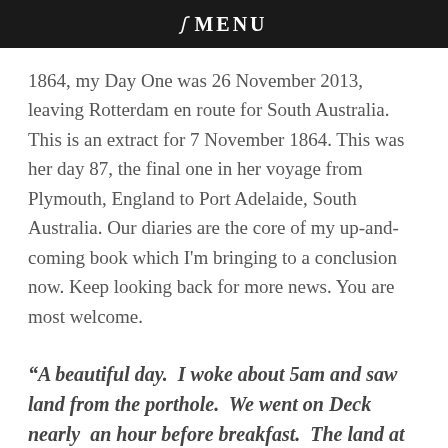☰ MENU
1864, my Day One was 26 November 2013, leaving Rotterdam en route for South Australia. This is an extract for 7 November 1864. This was her day 87, the final one in her voyage from Plymouth, England to Port Adelaide, South Australia. Our diaries are the core of my up-and-coming book which I'm bringing to a conclusion now. Keep looking back for more news. You are most welcome.
“A beautiful day.  I woke about 5am and saw land from the porthole.  We went on Deck nearly  an hour before breakfast.  The land at first looked rather low and barren.  We were